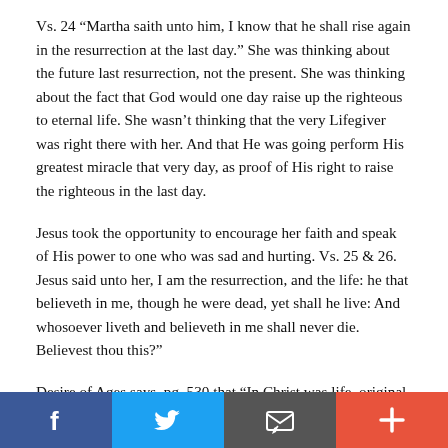Vs. 24 “Martha saith unto him, I know that he shall rise again in the resurrection at the last day.” She was thinking about the future last resurrection, not the present. She was thinking about the fact that God would one day raise up the righteous to eternal life. She wasn’t thinking that the very Lifegiver was right there with her. And that He was going perform His greatest miracle that very day, as proof of His right to raise the righteous in the last day.
Jesus took the opportunity to encourage her faith and speak of His power to one who was sad and hurting. Vs. 25 & 26. Jesus said unto her, I am the resurrection, and the life: he that believeth in me, though he were dead, yet shall he live: And whosoever liveth and believeth in me shall never die. Believest thou this?
Desire of Ages says, pg. 530 that “In Christ was life, original, unborrowed, underived.” In the presence of Jesus there is life. In the presence of Jesus coupled with belief in
[Figure (infographic): Social media sharing bar with four buttons: Facebook (blue), Twitter (light blue), Email/message (dark grey), and Plus/more (orange-red)]